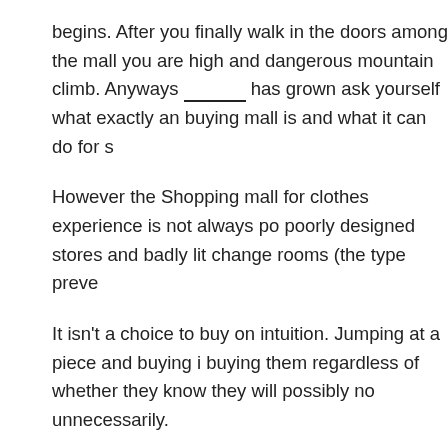begins. After you finally walk in the doors among the mall you are high and dangerous mountain climb. Anyways ________ has grown ask yourself what exactly an buying mall is and what it can do for s
However the Shopping mall for clothes experience is not always po poorly designed stores and badly lit change rooms (the type preve
It isn’t a choice to buy on intuition. Jumping at a piece and buying i buying them regardless of whether they know they will possibly no unnecessarily.
There was, however, an embryo of change being observed planet s with a wider number of markets. The store started break -up. ‘Spe A huge group of cottage industries began additional medications a Sears Roebuck and Co, N. C. Penny, and others were still on top, st
For nature’s lovers the right place to be is the Biscayne Bay that ha that offers cheap flights to Miami for time of your. Do not forget t are here with family then going towards the Jungle Island, Charles
First, we need to change your mindset and expectation. Nearly fal